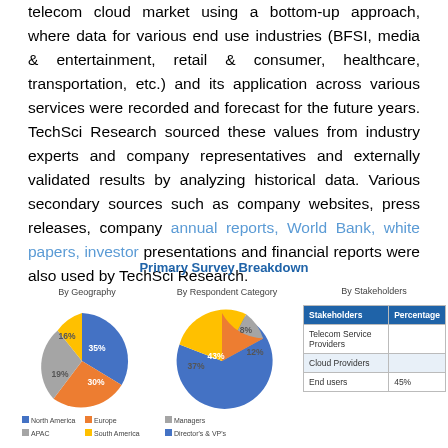telecom cloud market using a bottom-up approach, where data for various end use industries (BFSI, media & entertainment, retail & consumer, healthcare, transportation, etc.) and its application across various services were recorded and forecast for the future years. TechSci Research sourced these values from industry experts and company representatives and externally validated results by analyzing historical data. Various secondary sources such as company websites, press releases, company annual reports, World Bank, white papers, investor presentations and financial reports were also used by TechSci Research.
Primary Survey Breakdown
[Figure (pie-chart): By Geography]
[Figure (pie-chart): By Respondent Category]
| Stakeholders | Percentage |
| --- | --- |
| Telecom Service Providers |  |
| Cloud Providers |  |
| End users | 45% |